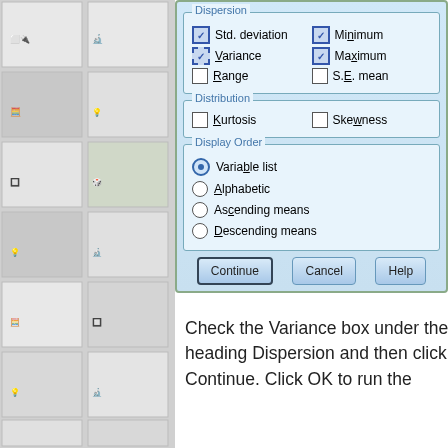[Figure (screenshot): SPSS Frequencies dialog showing Dispersion section (Std. deviation checked, Minimum checked, Variance checked with dashed border, Maximum checked, Range unchecked, S.E. mean unchecked), Distribution section (Kurtosis unchecked, Skewness unchecked), Display Order section with Variable list radio selected, Alphabetic, Ascending means, Descending means unchecked, and Continue/Cancel/Help buttons.]
Check the Variance box under the heading Dispersion and then click Continue. Click OK to run the